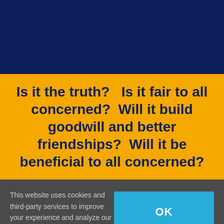[Figure (other): Dark navy blue banner/header section at top of page]
Is it the truth?   Is it fair to all concerned?  Will it build goodwill and better friendships?  Will it be beneficial to all concerned?
This website uses cookies and third-party services to improve your experience and analyze our website traffic. Learn More